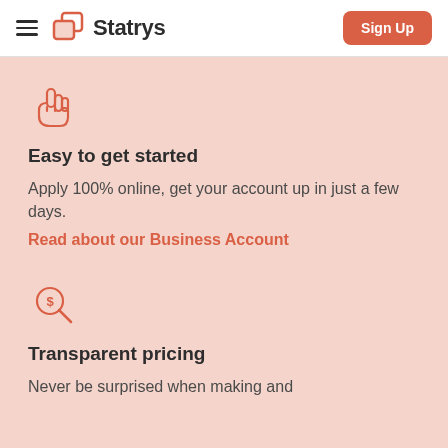Statrys — Sign Up
[Figure (logo): Statrys logo with two overlapping square icons in coral/red and the text Statrys in bold dark font]
[Figure (illustration): Coral/red outlined hand pointer icon]
Easy to get started
Apply 100% online, get your account up in just a few days.
Read about our Business Account
[Figure (illustration): Coral/red outlined magnifying glass with dollar sign icon]
Transparent pricing
Never be surprised when making and